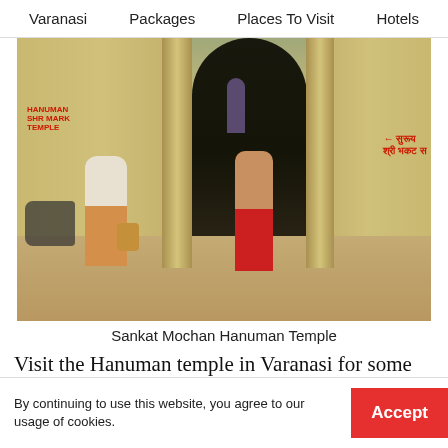Varanasi  Packages  Places To Visit  Hotels
[Figure (photo): Street-level view of the entrance to Sankat Mochan Hanuman Temple in Varanasi. Stone archway with yellow-painted pillars. A woman in red salwar kameez walks toward the camera; a man with a bag stands to the left. Hindi writing in red on the walls on both sides. Sandy unpaved ground.]
Sankat Mochan Hanuman Temple
Visit the Hanuman temple in Varanasi for some early morning aarti vibes. Established by famous Hindu
By continuing to use this website, you agree to our usage of cookies.